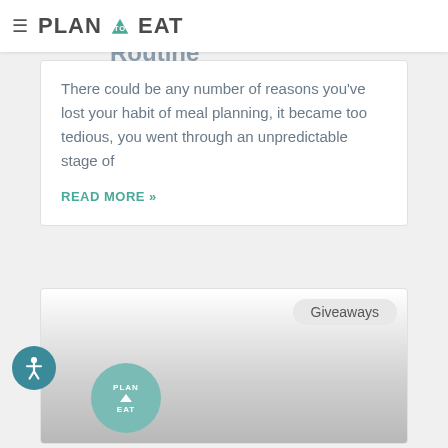Plan to Eat
Revive Your Meal Planning Routine
There could be any number of reasons you've lost your habit of meal planning, it became too tedious, you went through an unpredictable stage of
READ MORE »
Giveaways
[Figure (logo): Plan to Eat circular logo at bottom of second card]